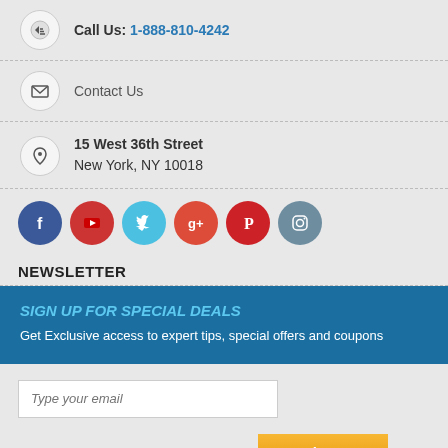Call Us: 1-888-810-4242
Contact Us
15 West 36th Street
New York, NY 10018
[Figure (infographic): Social media icons row: Facebook (blue), YouTube (red), Twitter (cyan), Google+ (red-orange), Pinterest (red), Instagram (blue-grey)]
NEWSLETTER
SIGN UP FOR SPECIAL DEALS
Get Exclusive access to expert tips, special offers and coupons
Type your email
Join Us